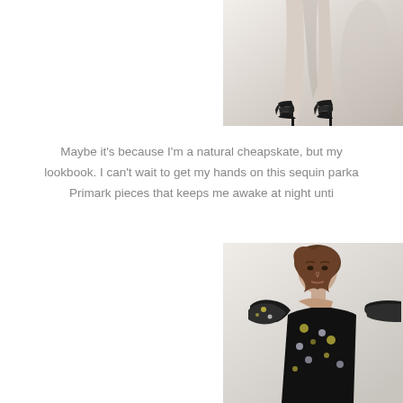[Figure (photo): Close-up photo of a model's legs wearing black strappy high-heel shoes against a white/light grey background, cropped at top-right of page]
Maybe it's because I'm a natural cheapskate, but my lookbook. I can't wait to get my hands on this sequin parka Primark pieces that keeps me awake at night unti
[Figure (photo): Photo of a female model with curly/wavy hair wearing a black floral/printed dress with dramatic ruffled shoulders, against a light grey background, positioned at bottom-right]